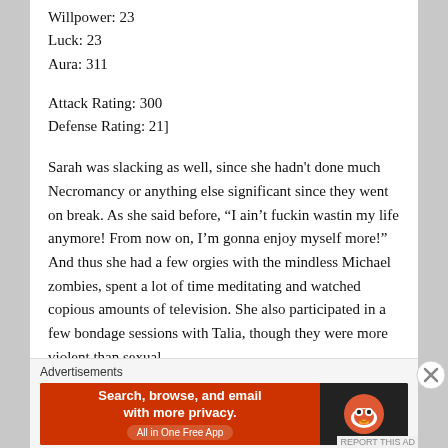Willpower: 23
Luck: 23
Aura: 311
Attack Rating: 300
Defense Rating: 21]
Sarah was slacking as well, since she hadn't done much Necromancy or anything else significant since they went on break. As she said before, “I ain't fuckin wastin my life anymore! From now on, I’m gonna enjoy myself more!” And thus she had a few orgies with the mindless Michael zombies, spent a lot of time meditating and watched copious amounts of television. She also participated in a few bondage sessions with Talia, though they were more violent than sexual.
[Companion Information
Advertisements
[Figure (other): DuckDuckGo advertisement banner: Search, browse, and email with more privacy. All in One Free App. Orange background with DuckDuckGo duck logo on dark right panel.]